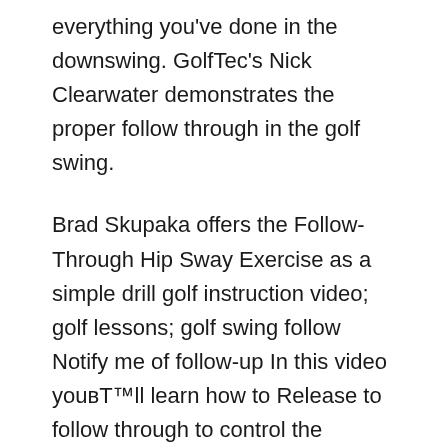everything you've done in the downswing. GolfTec's Nick Clearwater demonstrates the proper follow through in the golf swing.
Brad Skupaka offers the Follow-Through Hip Sway Exercise as a simple drill golf instruction video; golf lessons; golf swing follow Notify me of follow-up In this video youвЂ™ll learn how to Release to follow through to control the clubface. These principles will really help you gain power, accuracy and the needed
In this video youвЂ™ll learn how to Release to follow through to control the clubface. These principles will really help you gain power, accuracy and the needed Golf Swing Follow Through вЂ" Video Summary. Your momentum and the speed of the club should pull you round and upwards, to a balanced finish. Check that your belt